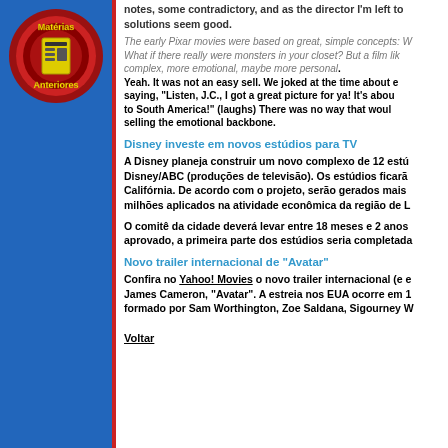[Figure (logo): Matérias Anteriores logo: circular emblem with red/dark red rings, yellow text reading 'Matérias Anteriores', and a yellow newspaper icon in the center, on a blue sidebar background]
notes, some contradictory, and as the director I'm left to sort through them and very seldom do all the solutions seem good.
The early Pixar movies were based on great, simple concepts: What if toys had feelings? What if there really were monsters in your closet? But a film like Up seems different — more complex, more emotional, maybe more personal. Yeah. It was not an easy sell. We joked at the time about a studio executive saying, "Listen, J.C., I got a great picture for ya! It's about an old man who ties balloons to South America!" (laughs) There was no way that would sell it. You have to work at selling the emotional backbone.
Disney investe em novos estúdios para TV
A Disney planeja construir um novo complexo de 12 estúdios para a Disney/ABC (produções de televisão). Os estúdios ficarão localizados em Burbank, Califórnia. De acordo com o projeto, serão gerados mais de 3.000 empregos e 1,4 bilhões aplicados na atividade econômica da região de Los Angeles.
O comitê da cidade deverá levar entre 18 meses e 2 anos para tomar uma decisão. Se aprovado, a primeira parte dos estúdios seria completada em 2013.
Novo trailer internacional de "Avatar"
Confira no Yahoo! Movies o novo trailer internacional (e em HD) do próximo filme de James Cameron, "Avatar". A estreia nos EUA ocorre em 18 de dezembro. O elenco é formado por Sam Worthington, Zoe Saldana, Sigourney Weaver e Michelle Rodriguez.
Voltar